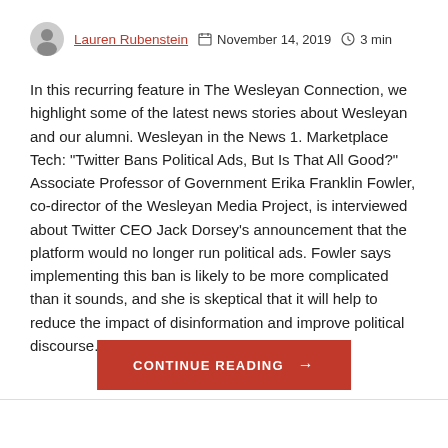Lauren Rubenstein   November 14, 2019   3 min
In this recurring feature in The Wesleyan Connection, we highlight some of the latest news stories about Wesleyan and our alumni. Wesleyan in the News 1. Marketplace Tech: "Twitter Bans Political Ads, But Is That All Good?" Associate Professor of Government Erika Franklin Fowler, co-director of the Wesleyan Media Project, is interviewed about Twitter CEO Jack Dorsey's announcement that the platform would no longer run political ads. Fowler says implementing this ban is likely to be more complicated than it sounds, and she is skeptical that it will help to reduce the impact of disinformation and improve political discourse. Fowler was…
CONTINUE READING →